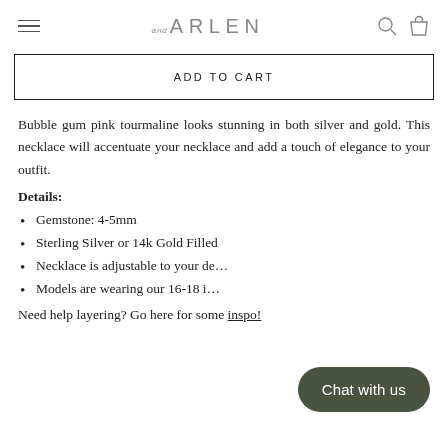and ARLEN
ADD TO CART
Bubble gum pink tourmaline looks stunning in both silver and gold. This necklace will accentuate your necklace and add a touch of elegance to your outfit.
Details:
Gemstone: 4-5mm
Sterling Silver or 14k Gold Filled
Necklace is adjustable to your de…
Models are wearing our 16-18 i…
Need help layering? Go here for some inspo!